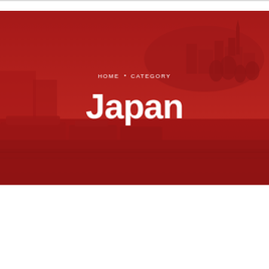[Figure (photo): Cityscape/harbor scene with boats and buildings on a hill, overlaid with a deep red color wash covering the entire hero banner area]
HOME · CATEGORY
Japan